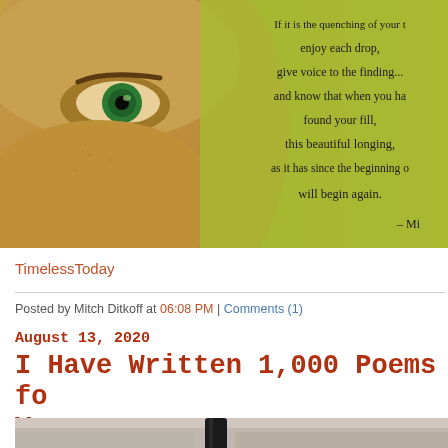[Figure (photo): Close-up photo of a man's face with green eyes, overlaid on a yellow-green background with poem text. The poem text reads: 'If it is the quenching of your t... enjoy each drop, give voice to the finding... and know that when you ha... found your fill, this beautiful longing, as it has since the beginning o... will begin again. – M...']
TimelessToday
Posted by Mitch Ditkoff at 06:08 PM | Comments (1)
August 13, 2020
I Have Written 1,000 Poems for You
[Figure (photo): Bottom portion of image showing a pen or writing instrument on a light surface, partially cropped.]